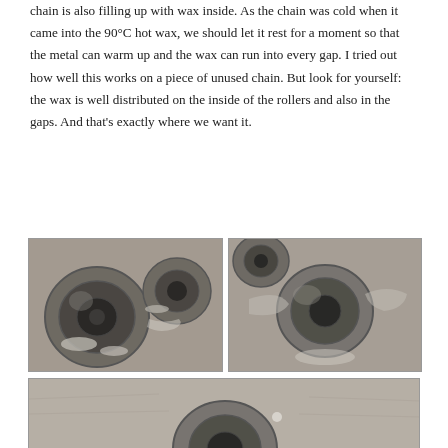chain is also filling up with wax inside. As the chain was cold when it came into the 90°C hot wax, we should let it rest for a moment so that the metal can warm up and the wax can run into every gap. I tried out how well this works on a piece of unused chain. But look for yourself: the wax is well distributed on the inside of the rollers and also in the gaps. And that's exactly where we want it.
[Figure (photo): Close-up photo of bicycle chain rollers showing wax coating distributed on the inside of the rollers and in the gaps, left view.]
[Figure (photo): Close-up photo of bicycle chain rollers showing wax coating distributed on the inside of the rollers and in the gaps, right view.]
[Figure (photo): Close-up photo of bicycle chain showing wax distribution, bottom view, partially visible.]